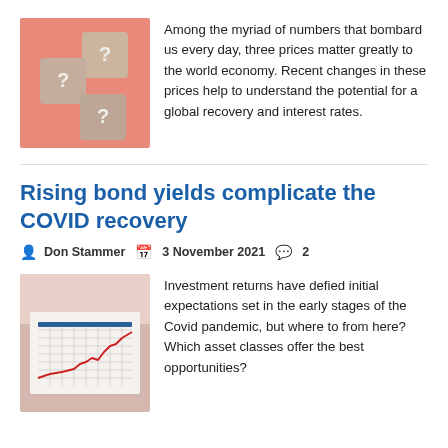[Figure (photo): Three wooden question mark blocks on a pink/salmon background]
Among the myriad of numbers that bombard us every day, three prices matter greatly to the world economy. Recent changes in these prices help to understand the potential for a global recovery and interest rates.
Rising bond yields complicate the COVID recovery
Don Stammer   3 November 2021   2
[Figure (photo): A line chart on paper showing a rising red line, on a warm-toned background]
Investment returns have defied initial expectations set in the early stages of the Covid pandemic, but where to from here? Which asset classes offer the best opportunities?